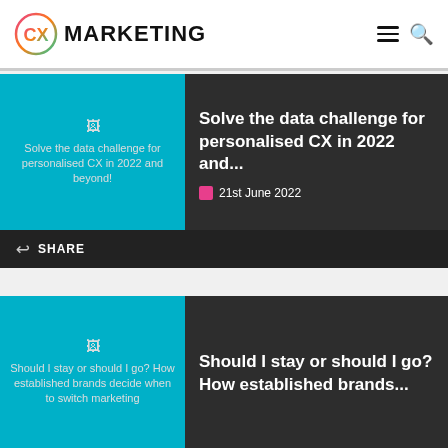CX MARKETING
[Figure (illustration): Thumbnail image for article: Solve the data challenge for personalised CX in 2022 and beyond!]
Solve the data challenge for personalised CX in 2022 and...
21st June 2022
SHARE
[Figure (illustration): Thumbnail image for article: Should I stay or should I go? How established brands decide when to switch marketing]
Should I stay or should I go? How established brands...